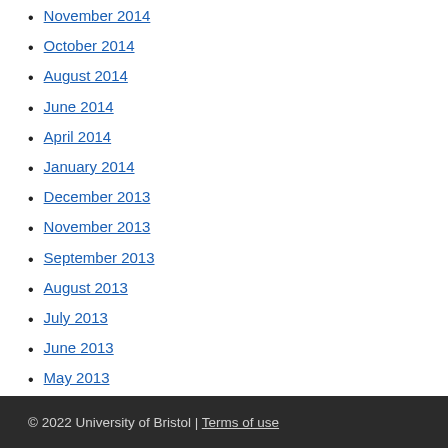November 2014
October 2014
August 2014
June 2014
April 2014
January 2014
December 2013
November 2013
September 2013
August 2013
July 2013
June 2013
May 2013
© 2022 University of Bristol | Terms of use